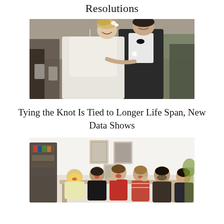Resolutions
[Figure (photo): A bride and groom laughing together at an outdoor wedding ceremony, with guests in the background. The bride has blonde hair with white flowers; the groom wears a dark suit with a white boutonniere.]
Tying the Knot Is Tied to Longer Life Span, New Data Shows
[Figure (photo): A group of six young people sitting around a table indoors, laughing and socializing. Framed art hangs on the white wall behind them. The setting appears to be a casual home or apartment.]